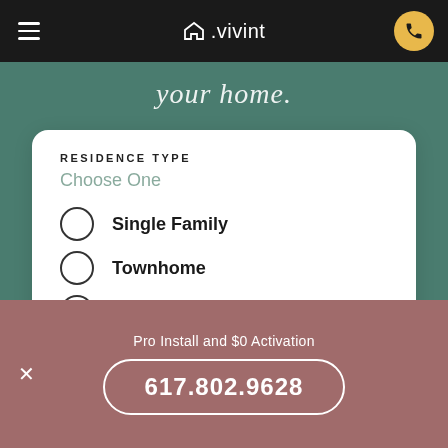vivint
your home.
RESIDENCE TYPE
Choose One
Single Family
Townhome
Condo
Apartment
Pro Install and $0 Activation
617.802.9628